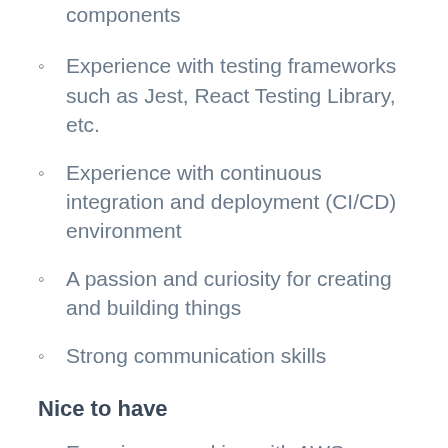components
Experience with testing frameworks such as Jest, React Testing Library, etc.
Experience with continuous integration and deployment (CI/CD) environment
A passion and curiosity for creating and building things
Strong communication skills
Nice to have
Experience working with AWS